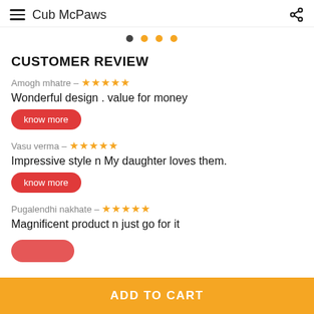Cub McPaws
CUSTOMER REVIEW
Amogh mhatre – ★★★★★
Wonderful design . value for money
know more
Vasu verma – ★★★★★
Impressive style n My daughter loves them.
know more
Pugalendhi nakhate – ★★★★★
Magnificent product n just go for it
ADD TO CART